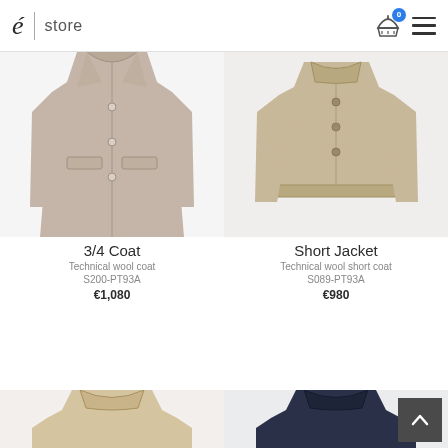é | store
[Figure (photo): 3/4 coat in taupe/grey technical wool, button-front, with flap pockets]
3/4 Coat
Technical wool coat
S200-PT93A
€1,080
[Figure (photo): Short jacket in beige/taupe technical wool, button-front]
Short Jacket
Technical wool short coat
S089-PT93A
€980
[Figure (photo): Partial view of a beige coat at the bottom of the page]
[Figure (photo): Partial view of a navy jacket at the bottom of the page]